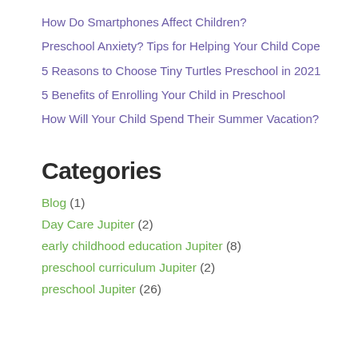How Do Smartphones Affect Children?
Preschool Anxiety? Tips for Helping Your Child Cope
5 Reasons to Choose Tiny Turtles Preschool in 2021
5 Benefits of Enrolling Your Child in Preschool
How Will Your Child Spend Their Summer Vacation?
Categories
Blog (1)
Day Care Jupiter (2)
early childhood education Jupiter (8)
preschool curriculum Jupiter (2)
preschool Jupiter (26)